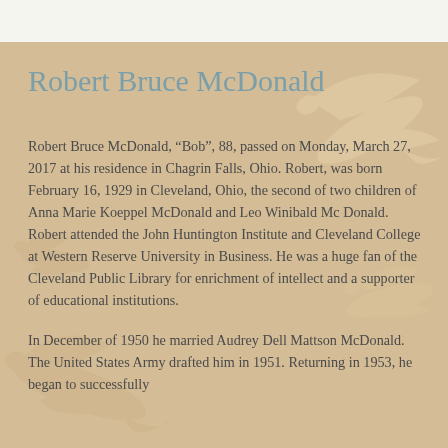[Figure (illustration): Decorative watermark of dove/bird silhouettes in light cream/white on a tan/beige background]
Robert Bruce McDonald
Robert Bruce McDonald, “Bob”, 88, passed on Monday, March 27, 2017 at his residence in Chagrin Falls, Ohio. Robert, was born February 16, 1929 in Cleveland, Ohio, the second of two children of Anna Marie Koeppel McDonald and Leo Winibald Mc Donald. Robert attended the John Huntington Institute and Cleveland College at Western Reserve University in Business. He was a huge fan of the Cleveland Public Library for enrichment of intellect and a supporter of educational institutions.
In December of 1950 he married Audrey Dell Mattson McDonald. The United States Army drafted him in 1951. Returning in 1953, he began to successfully